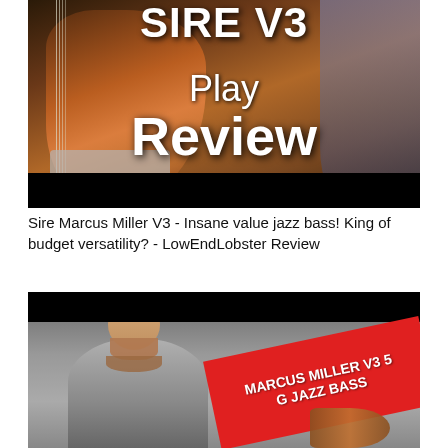[Figure (screenshot): Video thumbnail showing a jazz bass guitar with text overlay reading 'SIRE V3 Play Review' on dark background with black bar at bottom]
Sire Marcus Miller V3 - Insane value jazz bass! King of budget versatility? - LowEndLobster Review
[Figure (screenshot): Video thumbnail showing a man with beard pointing, with red diagonal banner reading 'MARCUS MILLER V3 5 G JAZZ BASS' on a gray background]